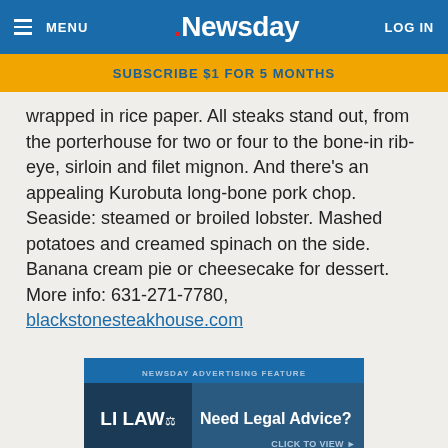MENU | Newsday | LOG IN
SUBSCRIBE $1 FOR 5 MONTHS
wrapped in rice paper. All steaks stand out, from the porterhouse for two or four to the bone-in rib-eye, sirloin and filet mignon. And there's an appealing Kurobuta long-bone pork chop. Seaside: steamed or broiled lobster. Mashed potatoes and creamed spinach on the side. Banana cream pie or cheesecake for dessert. More info: 631-271-7780, blackstonesteakhouse.com
[Figure (other): Newsday Advertising Feature banner ad for LI LAW - Need Legal Advice? Click to View.]